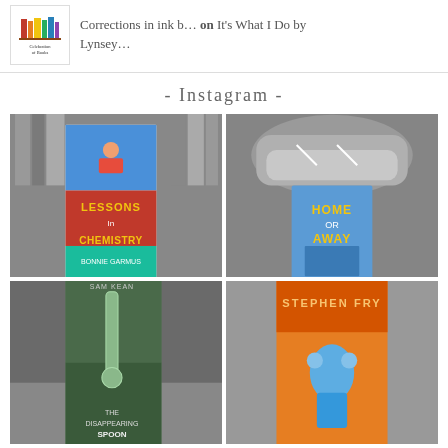[Figure (logo): Celebration of Books logo with colorful book spines illustration]
Corrections in ink b... on It's What I Do by Lynsey...
- Instagram -
[Figure (photo): Color photo of a hand holding 'Lessons in Chemistry' by Bonnie Garmus book cover against a black and white bookshelf background]
[Figure (photo): Black and white photo of 'Home or Away' by Kathleen West book propped against sneakers on a shelf]
[Figure (photo): Black and white photo of Sam Kean book (The Disappearing Spoon) held in front of bookshelf]
[Figure (photo): Color photo of a hand holding a Stephen Fry orange book cover]